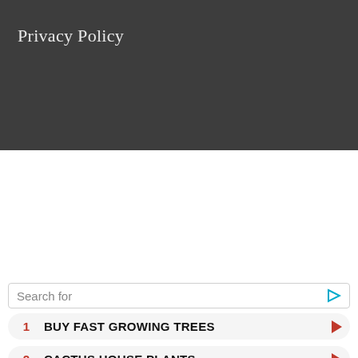Privacy Policy
[Figure (screenshot): Dark gray header background area beneath the Privacy Policy title]
Search for
1  BUY FAST GROWING TREES
2  CACTUS HOUSE PLANTS
Yahoo! Search | Sponsored